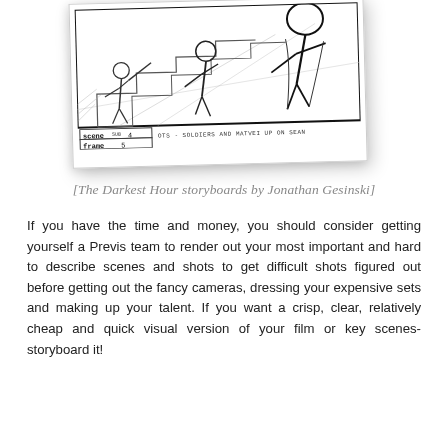[Figure (illustration): Storyboard panel showing soldiers and Matvei looking up at Sean, scene SUB 4 frame 5. Pencil sketch style with dramatic angle, figures in military/action scene. Scene label reads 'scene SUB 4', frame label reads 'frame 5', description reads 'OTS - SOLDIERS AND MATVEI UP ON SEAN'.]
[The Darkest Hour storyboards by Jonathan Gesinski]
If you have the time and money, you should consider getting yourself a Previs team to render out your most important and hard to describe scenes and shots to get difficult shots figured out before getting out the fancy cameras, dressing your expensive sets and making up your talent. If you want a crisp, clear, relatively cheap and quick visual version of your film or key scenes- storyboard it!